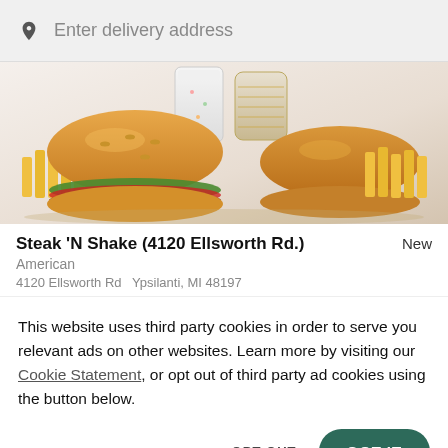Enter delivery address
[Figure (photo): Food photo showing burgers with fries and milkshakes against a light background]
Steak 'N Shake (4120 Ellsworth Rd.)
New
American
4120 Ellsworth Rd   Ypsilanti, MI 48197
This website uses third party cookies in order to serve you relevant ads on other websites. Learn more by visiting our Cookie Statement, or opt out of third party ad cookies using the button below.
OPT OUT
GOT IT